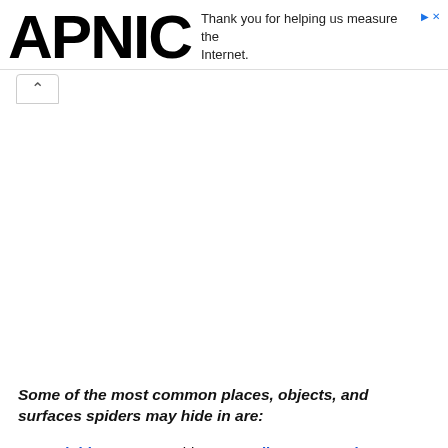APNIC — Thank you for helping us measure the Internet.
Some of the most common places, objects, and surfaces spiders may hide in are:
Trash bins , compost bins, recycling receptacles .